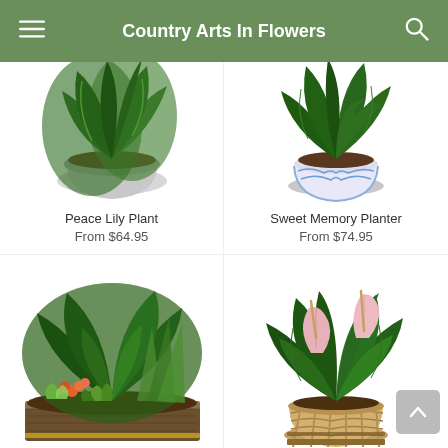Country Arts In Flowers
[Figure (photo): Peace Lily Plant in a white woven pot]
Peace Lily Plant
From $64.95
[Figure (photo): Sweet Memory Planter in a blue and white ceramic pot]
Sweet Memory Planter
From $74.95
[Figure (photo): Mixed green dish garden in a rustic wooden planter]
[Figure (photo): Anthurium plant with pink flowers in a woven bamboo basket]